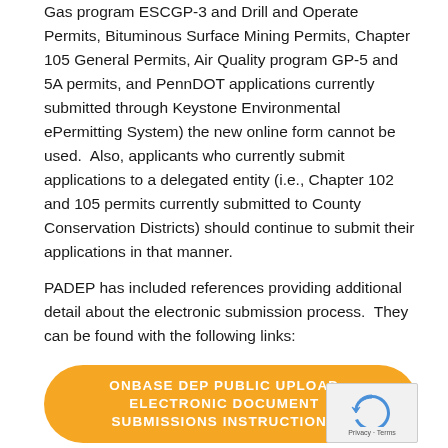Gas program ESCGP-3 and Drill and Operate Permits, Bituminous Surface Mining Permits, Chapter 105 General Permits, Air Quality program GP-5 and 5A permits, and PennDOT applications currently submitted through Keystone Environmental ePermitting System) the new online form cannot be used.  Also, applicants who currently submit applications to a delegated entity (i.e., Chapter 102 and 105 permits currently submitted to County Conservation Districts) should continue to submit their applications in that manner.
PADEP has included references providing additional detail about the electronic submission process.  They can be found with the following links:
[Figure (other): Orange pill-shaped button with white bold uppercase text reading 'ONBASE DEP PUBLIC UPLOAD ELECTRONIC DOCUMENT SUBMISSIONS INSTRUCTIONS' with a right-pointing arrow chevron]